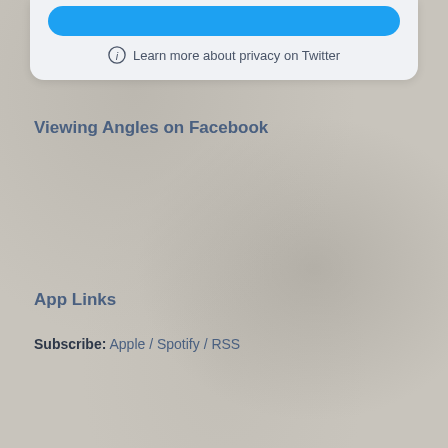[Figure (screenshot): Partial white card with a blue button and privacy info line reading 'Learn more about privacy on Twitter' with an info icon]
Viewing Angles on Facebook
App Links
Subscribe: Apple / Spotify / RSS